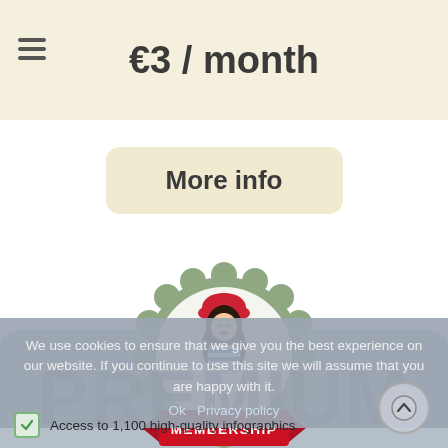€3 / month
More info
[Figure (illustration): Badge illustration: green scalloped badge with a cartoon French woman wearing a red beret, holding a mug, with a red ribbon banner reading MEMBERSHIP]
PREMIUM
We use cookies to ensure that we give you the best experience on our website. If you continue to use this site we will assume that you are happy with it.
Ok   Privacy policy
Access to 1,100 high-quality infographics